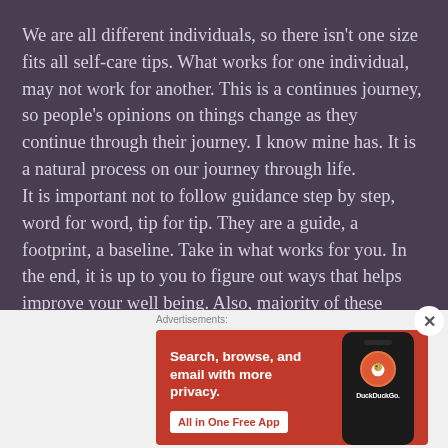We are all different individuals, so there isn't one size fits all self-care tips. What works for one individual, may not work for another. This is a continues journey, so people's opinions on things change as they continue through their journey. I know mine has. It is a natural process on our journey through life.
It is important not to follow guidance step by step, word for word, tip for tip. They are a guide, a footprint, a baseline. Take in what works for you. In the end, it is up to you to figure out ways that helps improve your well being. Also, majority of these things are recycled
Advertisements:
[Figure (infographic): DuckDuckGo advertisement banner with orange background showing text 'Search, browse, and email with more privacy. All in One Free App' with a phone graphic showing the DuckDuckGo logo and app name.]